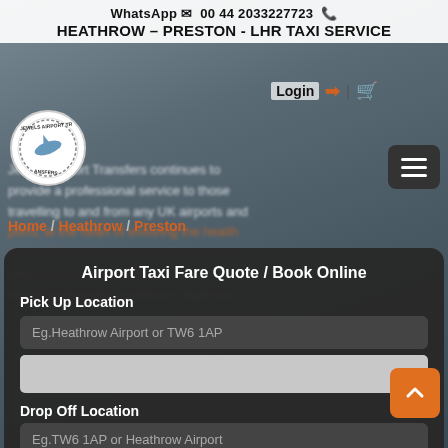WhatsApp 00 44 2033227723 | HEATHROW – PRESTON - LHR TAXI SERVICE
[Figure (screenshot): Jewels Airport Transfers website screenshot showing blurred background with driver and car, breadcrumb navigation Home / Heathrow / Preston, and background text about professional service]
Airport Taxi Fare Quote / Book Online
Pick Up Location
Eg.Heathrow Airport or TW6 1AP
Drop Off Location
Eg.TW6 1AP or Heathrow Airport